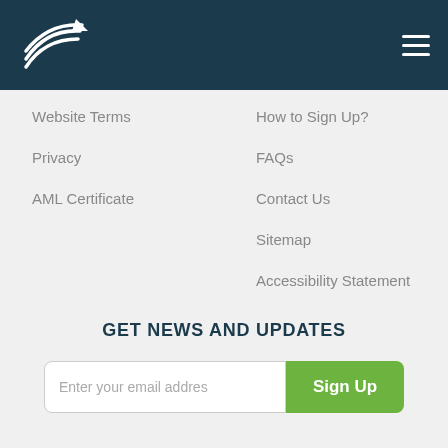[Figure (logo): Company logo with white swoosh/arrow graphic on dark teal header bar]
Website Terms
Privacy
AML Certificate
How to Sign Up?
FAQs
Contact Us
Sitemap
Accessibility Statement
GET NEWS AND UPDATES
Enter your email addres
Sign Up